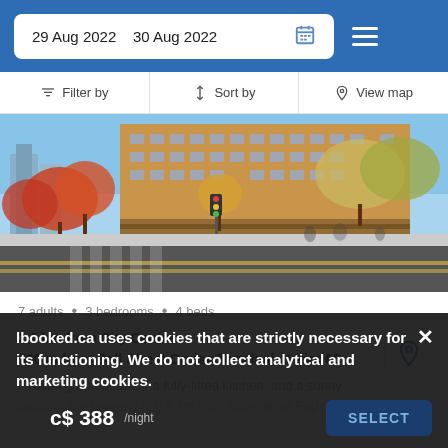29 Aug 2022  30 Aug 2022
Filter by   Sort by   View map
[Figure (photo): Street-level photo of a multi-storey brick apartment building with autumn trees, storefronts, and a road in the foreground, Seattle urban scene.]
7 adults • 3 bedrooms • 4 beds
2.0 km from City Centre
500 m from Bell Street Cruise Terminal at Pier 66
Featuring 2 bedrooms, a fully-fitted kitchen, and a sunny balcony, the property is 0.6 km from Museum of Pop Culture
lbooked.ca uses cookies that are strictly necessary for its functioning. We do not collect analytical and marketing cookies.
c$ 388/night
SELECT